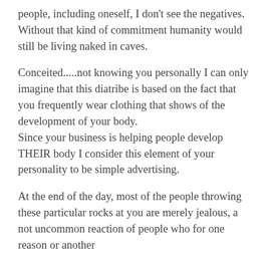people, including oneself, I don't see the negatives.
Without that kind of commitment humanity would still be living naked in caves.
Conceited.....not knowing you personally I can only imagine that this diatribe is based on the fact that you frequently wear clothing that shows of the development of your body.
Since your business is helping people develop THEIR body I consider this element of your personality to be simple advertising.
At the end of the day, most of the people throwing these particular rocks at you are merely jealous, a not uncommon reaction of people who for one reason or another